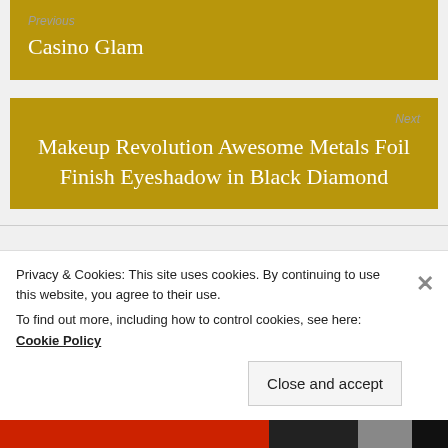Previous
Casino Glam
Next
Makeup Revolution Awesome Metals Foil Finish Eyeshadow in Black Diamond
Search Tashasface.com
Search
Privacy & Cookies: This site uses cookies. By continuing to use this website, you agree to their use.
To find out more, including how to control cookies, see here: Cookie Policy
Close and accept